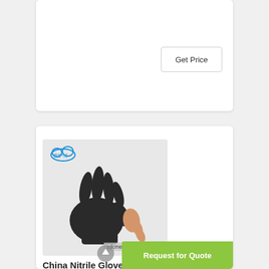[Figure (other): Get Price button card at the top of the page]
[Figure (photo): Product listing card showing a black nitrile glove held by a hand, with a Chinese brand logo (安护洁) and email watermark zdcmedical@gmail.com]
China Nitrile Gloves Nitrile Examination Gloves Blue ...
2022-1-29 · China Nitrile Gloves Nitrile Examination Gloves Blue Nitrile Examination and Price about China Nitrile